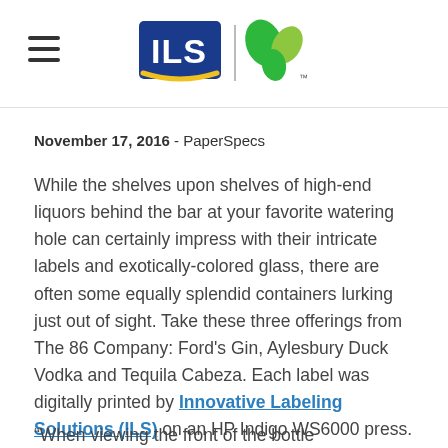ILS logo header with navigation hamburger menu
November 17, 2016 - PaperSpecs
While the shelves upon shelves of high-end liquors behind the bar at your favorite watering hole can certainly impress with their intricate labels and exotically-colored glass, there are often some equally splendid containers lurking just out of sight. Take these three offerings from The 86 Company: Ford's Gin, Aylesbury Duck Vodka and Tequila Cabeza. Each label was digitally printed by Innovative Labeling Solutions (ILS) on an HP Indigo WS6000 press.
“When viewing the front of the bottle